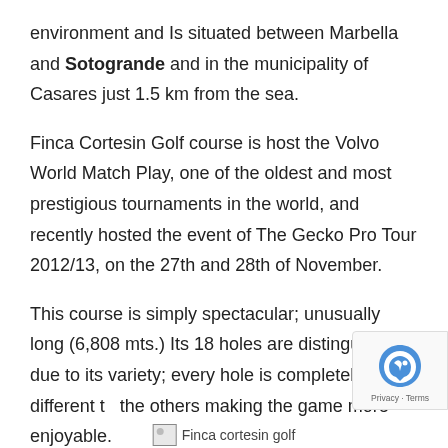environment and Is situated between Marbella and Sotogrande and in the municipality of Casares just 1.5 km from the sea.
Finca Cortesin Golf course is host the Volvo World Match Play, one of the oldest and most prestigious tournaments in the world, and recently hosted the event of The Gecko Pro Tour 2012/13, on the 27th and 28th of November.
This course is simply spectacular; unusually long (6,808 mts.) Its 18 holes are distinguished due to its variety; every hole is completely different the others making the game more enjoyable.
[Figure (photo): Partial image placeholder labeled 'Finca cortesin golf' visible at bottom of page]